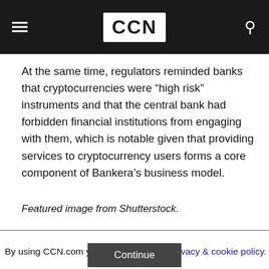CCN
At the same time, regulators reminded banks that cryptocurrencies were “high risk” instruments and that the central bank had forbidden financial institutions from engaging with them, which is notable given that providing services to cryptocurrency users forms a core component of Bankera’s business model.
Featured image from Shutterstock.
By using CCN.com you consent to our privacy & cookie policy.